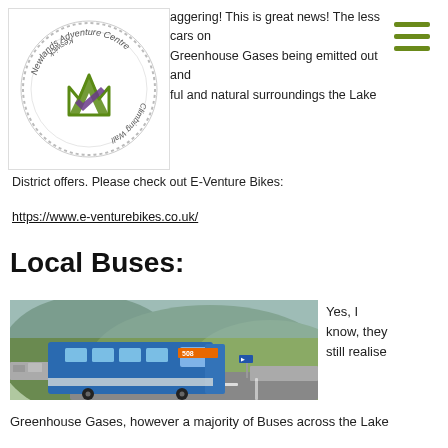[Figure (logo): Newlands Adventure Centre / Keswick Climbing Wall circular logo with green mountain mark and purple check]
aggering! This is great news! The less cars on Greenhouse Gases being emitted out and ful and natural surroundings the Lake District offers. Please check out E-Venture Bikes:
https://www.e-venturebikes.co.uk/
Local Buses:
[Figure (photo): Blue local bus (number 508) driving along a narrow mountain road in the Lake District surrounded by green hills]
Yes, I know, they still realise
Greenhouse Gases, however a majority of Buses across the Lake